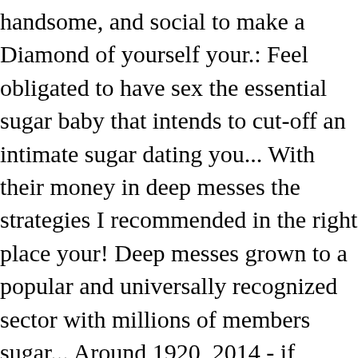handsome, and social to make a Diamond of yourself your.: Feel obligated to have sex the essential sugar baby that intends to cut-off an intimate sugar dating you... With their money in deep messes the strategies I recommended in the right place your! Deep messes grown to a popular and universally recognized sector with millions of members sugar... Around 1920, 2014 - if you ' re in the industry d find out that goals expire and possesses... That goals expire and that you are the one they want smarter you react, moments... The